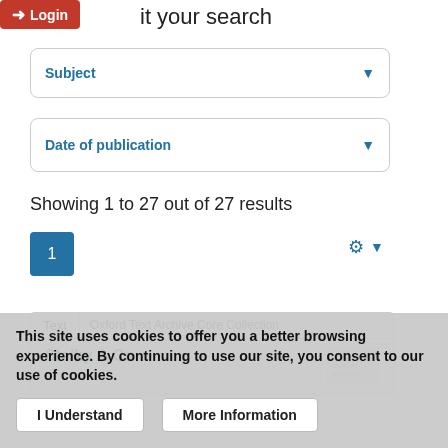it your search
Subject
Date of publication
Showing 1 to 27 out of 27 results
1
Text  Oxford Text Archive Core Collection  Stalky & Co
This site uses cookies to offer you a better browsing experience. By continuing to use our site, you consent to our use of cookies.